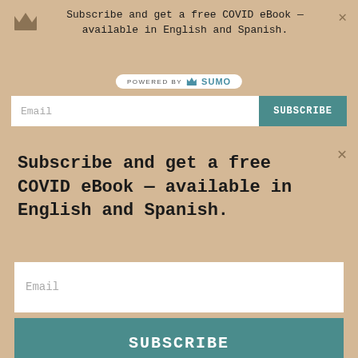Subscribe and get a free COVID eBook — available in English and Spanish.
[Figure (logo): POWERED BY SUMO logo with crown icon]
Email
SUBSCRIBE
Subscribe and get a free COVID eBook — available in English and Spanish.
Email
SUBSCRIBE
* If you would like a copy in Spanish but are already subscribed, contact James directly.
CONTACT